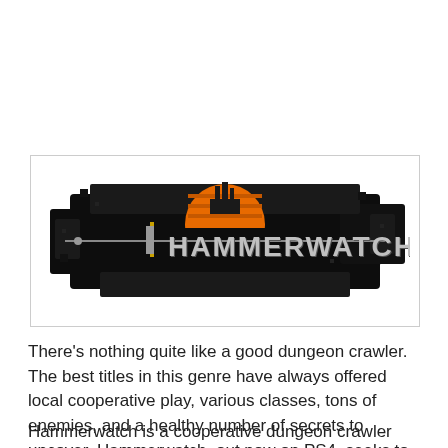[Figure (logo): Hammerwatch game logo: pixel art style with black splatter background, orange sunset semicircle, castle silhouette, and metallic 'HAMMERWATCH' text with a sword motif]
There's nothing quite like a good dungeon crawler. The best titles in this genre have always offered local cooperative play, various classes, tons of enemies, and a healthy number of secrets to uncover. Hammerwatch, out now on PS4, seeks to join these ranks.
Hammerwatch is a cooperative dungeon crawler that lets